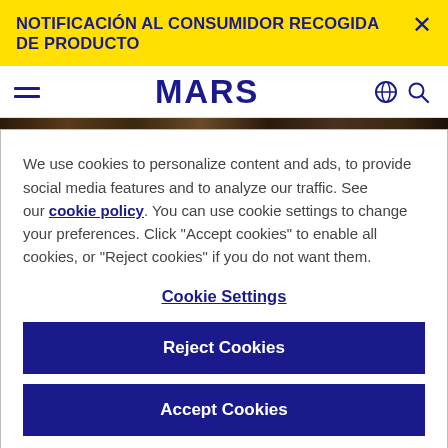NOTIFICACIÓN AL CONSUMIDOR RECOGIDA DE PRODUCTO
[Figure (logo): MARS logo in dark blue bold text on white navbar with hamburger menu, globe icon, and search icon]
We use cookies to personalize content and ads, to provide social media features and to analyze our traffic. See our cookie policy. You can use cookie settings to change your preferences. Click "Accept cookies" to enable all cookies, or "Reject cookies" if you do not want them.
Cookie Settings
Reject Cookies
Accept Cookies